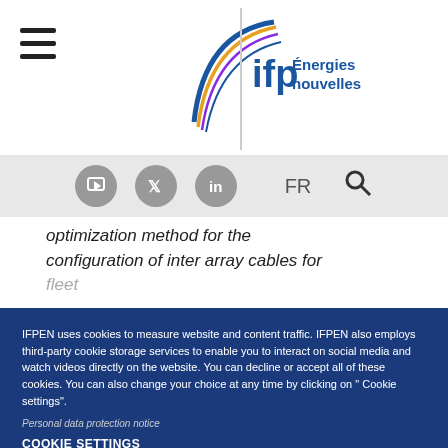[Figure (logo): IFP Energies nouvelles logo with circular arc graphic and blue text]
[Figure (infographic): Social media icons (YouTube, Twitter, LinkedIn), FR language selector, and search icon in a grey navigation bar]
optimization method for the configuration of inter array cables for
IFPEN uses cookies to measure website and content traffic. IFPEN also employs third-party cookie storage services to enable you to interact on social media and watch videos directly on the website. You can decline or accept all of these cookies. You can also change your choice at any time by clicking on " Cookie settings".
Personal data protection notice
COOKIE SETTINGS
ACCEPT COOKIES
DECLINE COOKIES